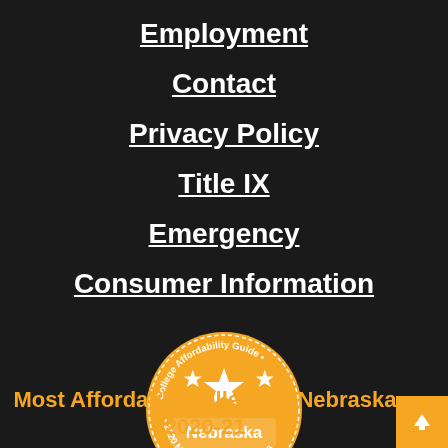Employment
Contact
Privacy Policy
Title IX
Emergency
Consumer Information
[Figure (illustration): College Affordability Guide badge — orange circular seal with text 'College Affordability Guide • Nebraska • 2020 Most Affordable Colleges' and three stars above horizontal stripes]
Most Affordable College in Nebraska 2020-21